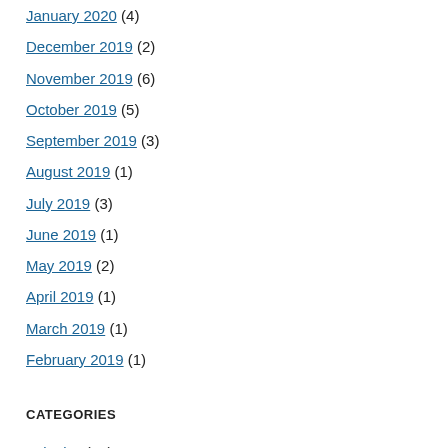January 2020 (4)
December 2019 (2)
November 2019 (6)
October 2019 (5)
September 2019 (3)
August 2019 (1)
July 2019 (3)
June 2019 (1)
May 2019 (2)
April 2019 (1)
March 2019 (1)
February 2019 (1)
CATEGORIES
Avionics (13)
Harness and Wiring (4)